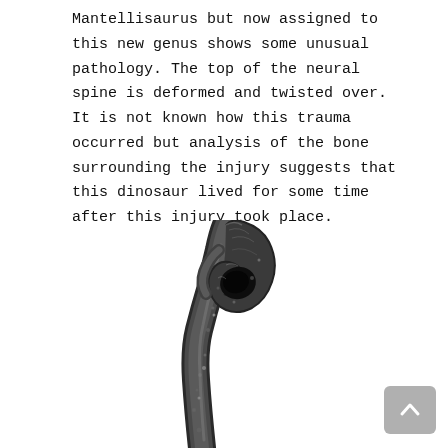Mantellisaurus but now assigned to this new genus shows some unusual pathology. The top of the neural spine is deformed and twisted over. It is not known how this trauma occurred but analysis of the bone surrounding the injury suggests that this dinosaur lived for some time after this injury took place.
[Figure (photo): Photograph of a deformed dinosaur neural spine fossil (dark grey/black bone) showing a twisted and deformed top, photographed against a white background.]